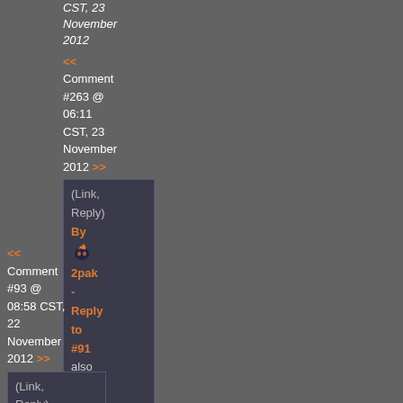CST, 23 November 2012
<< Comment #263 @ 06:11 CST, 23 November 2012 >>
(Link, Reply)
By 2pak - Reply to #91
also
pav3k
<< Comment #93 @ 08:58 CST, 22 November 2012 >>
(Link, Reply)
By [avatar]